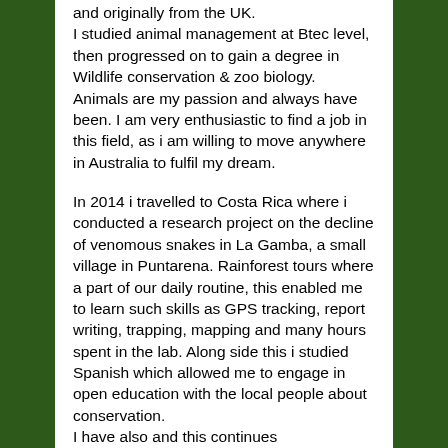and originally from the UK.
I studied animal management at Btec level, then progressed on to gain a degree in Wildlife conservation & zoo biology.
Animals are my passion and always have been. I am very enthusiastic to find a job in this field, as i am willing to move anywhere in Australia to fulfil my dream.
In 2014 i travelled to Costa Rica where i conducted a research project on the decline of venomous snakes in La Gamba, a small village in Puntarena. Rainforest tours where a part of our daily routine, this enabled me to learn such skills as GPS tracking, report writing, trapping, mapping and many hours spent in the lab. Along side this i studied Spanish which allowed me to engage in open education with the local people about conservation.
I have also and this continues conservation...